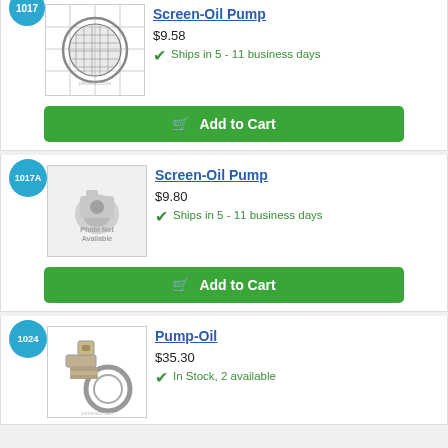[Figure (photo): Metal screen oil pump filter part, product image on grid background]
Screen-Oil Pump
$9.58
Ships in 5 - 11 business days
Add to Cart
[Figure (photo): Photo Not Available placeholder image]
Screen-Oil Pump
$9.80
Ships in 5 - 11 business days
Add to Cart
[Figure (photo): Pump-Oil parts: small metal components on white background]
Pump-Oil
$35.30
In Stock, 2 available